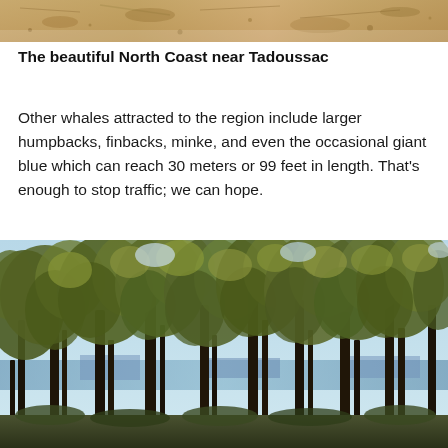[Figure (photo): Partial top of a photo showing a sandy/rocky North Coast near Tadoussac, visible at the very top of the page]
The beautiful North Coast near Tadoussac
Other whales attracted to the region include larger humpbacks, finbacks, minke, and even the occasional giant blue which can reach 30 meters or 99 feet in length. That's enough to stop traffic; we can hope.
[Figure (photo): A forest of tall deciduous trees with green and yellow-green foliage, with glimpses of water and sky in the background, photographed near Tadoussac]